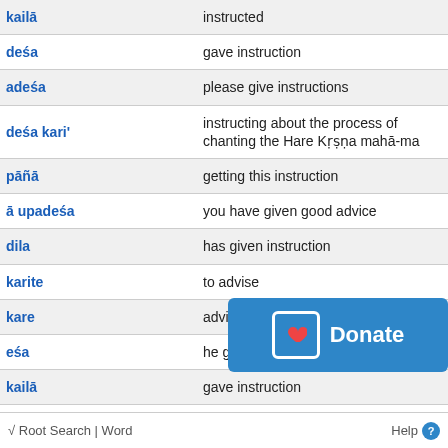| Term | Definition |
| --- | --- |
| (kailā) | instructed |
| deśa | gave instruction |
| (a)deśa | please give instructions |
| deśa kari' | instructing about the process of chanting the Hare Kṛṣṇa mahā-ma... |
| (pāñā) | getting this instruction |
| (ā) upadeśa | you have given good advice |
| (dila) | has given instruction |
| (karite) | to advise |
| (kare) | advises |
| (eśa) | he gave instruction |
| (kailā) | gave instruction |
| (eśa) | please give instruction |
| (eśa) | please give instructions |
| (deśa) | have given instruction |
| (eśa) | to ad... |
[Figure (other): Donate button overlay in blue with heart icon]
√ Root Search | Word    Help